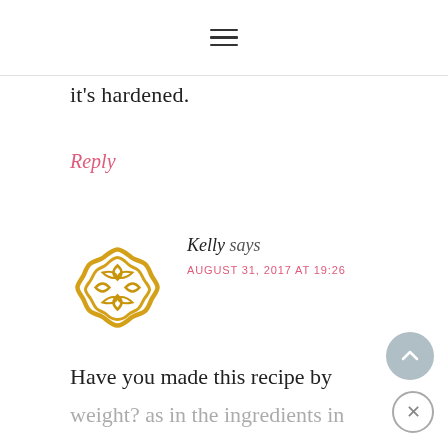[Figure (other): Hamburger menu icon (three horizontal lines) centered in the navigation bar at top of page]
it's hardened.
Reply
[Figure (logo): Golden/yellow decorative geometric badge/flower logo icon used as commenter avatar]
Kelly says
AUGUST 31, 2017 AT 19:26
Have you made this recipe by weight? as in the ingredients in grams? If so what would the